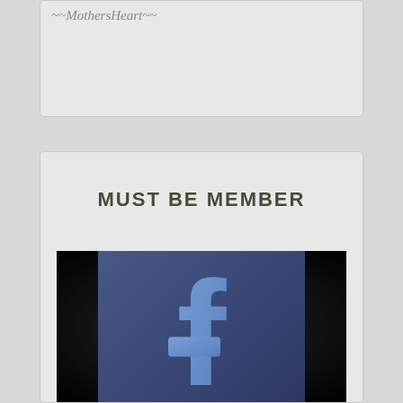~~MothersHeart~~
MUST BE MEMBER
[Figure (logo): Facebook app icon — dark background with a rounded square blue Facebook 'f' logo in the center]